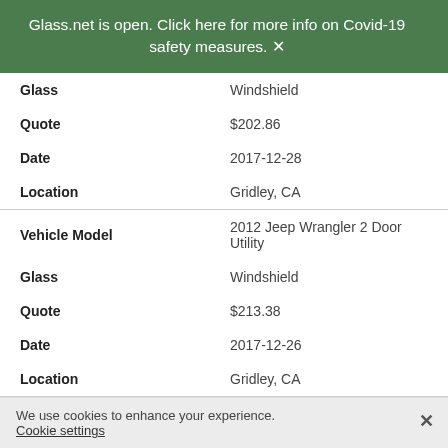Glass.net is open. Click here for more info on Covid-19 safety measures.
| Glass | Windshield |
| Quote | $202.86 |
| Date | 2017-12-28 |
| Location | Gridley, CA |
| Vehicle Model | 2012 Jeep Wrangler 2 Door Utility |
| Glass | Windshield |
| Quote | $213.38 |
| Date | 2017-12-26 |
| Location | Gridley, CA |
| Vehicle Model | 2002 GMC Sierra C1500 2 Door |
We use cookies to enhance your experience. Cookie settings